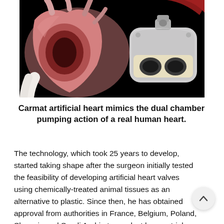[Figure (photo): Photo of a Carmat artificial heart device on a black background. On the left side is a cross-section of a biological heart with pink/red chambers visible; on the right side is the physical Carmat artificial heart device, which is gray/white and rectangular with two circular ports.]
Carmat artificial heart mimics the dual chamber pumping action of a real human heart.
The technology, which took 25 years to develop, started taking shape after the surgeon initially tested the feasibility of developing artificial heart valves using chemically-treated animal tissues as an alternative to plastic. Since then, he has obtained approval from authorities in France, Belgium, Poland, Slovenia and Saudi Arabia to conduct human trials that are expected to run until the end of 2014. If all goes well, he says, if...